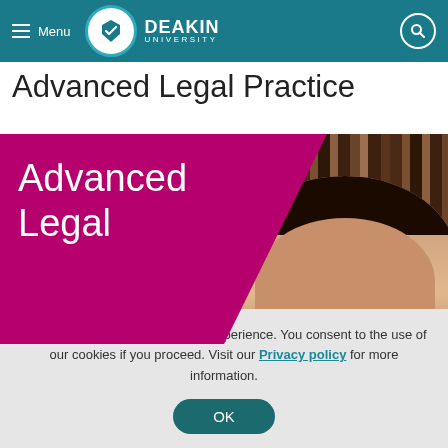Menu | DEAKIN UNIVERSITY
Advanced Legal Practice
[Figure (photo): Hero banner with magenta polygon overlay on the left containing large white text 'Advanced Legal' and a photo of a young woman in front of bookshelves on the right]
We use cookies to improve your experience. You consent to the use of our cookies if you proceed. Visit our Privacy policy for more information.
OK